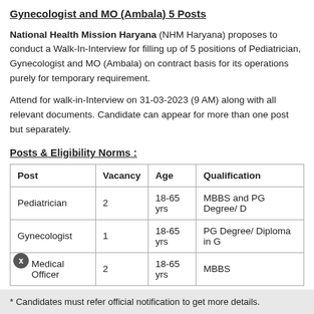Gynecologist and MO (Ambala) 5 Posts
National Health Mission Haryana (NHM Haryana) proposes to conduct a Walk-In-Interview for filling up of 5 positions of Pediatrician, Gynecologist and MO (Ambala) on contract basis for its operations purely for temporary requirement.
Attend for walk-in-Interview on 31-03-2023 (9 AM) along with all relevant documents. Candidate can appear for more than one post but separately.
Posts & Eligibility Norms :
| Post | Vacancy | Age | Qualification |
| --- | --- | --- | --- |
| Pediatrician | 2 | 18-65 yrs | MBBS and PG Degree/ D |
| Gynecologist | 1 | 18-65 yrs | PG Degree/ Diploma in G |
| Medical Officer | 2 | 18-65 yrs | MBBS |
* Candidates must refer official notification to get more details.